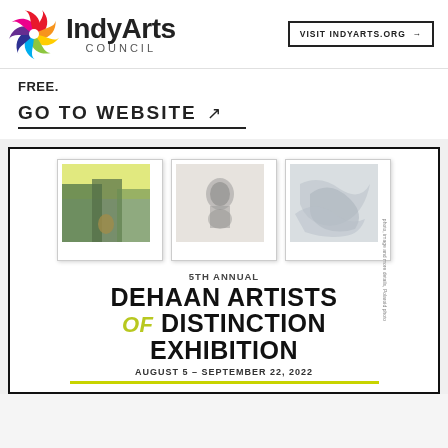[Figure (logo): IndyArts Council logo with colorful pinwheel and text]
VISIT INDYARTS.ORG →
FREE.
GO TO WEBSITE ↗
[Figure (illustration): Exhibition poster for 5th Annual DeHaan Artists of Distinction Exhibition, August 5 – September 22, 2022, featuring three polaroid-style photographs and bold typography]